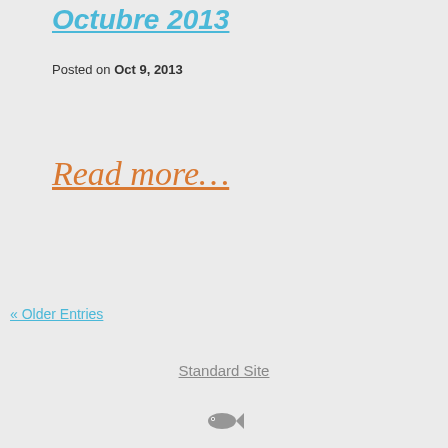Octubre 2013
Posted on Oct 9, 2013
Read more...
« Older Entries
Standard Site